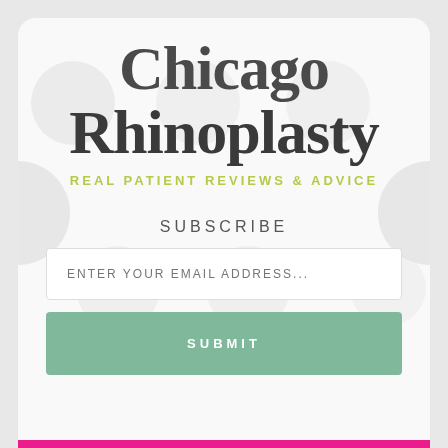Chicago Rhinoplasty
REAL PATIENT REVIEWS & ADVICE
SUBSCRIBE
ENTER YOUR EMAIL ADDRESS...
SUBMIT